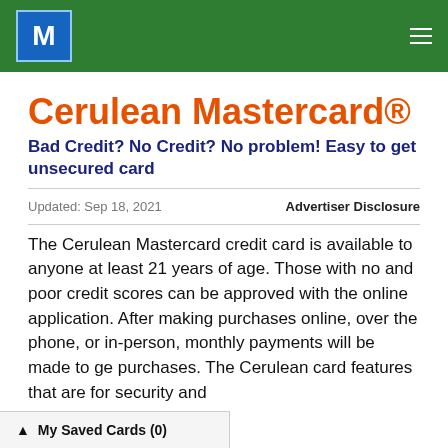M (logo) — navigation header
Cerulean Mastercard®
Bad Credit? No Credit? No problem! Easy to get unsecured card
Updated: Sep 18, 2021
Advertiser Disclosure
The Cerulean Mastercard credit card is available to anyone at least 21 years of age. Those with no and poor credit scores can be approved with the online application. After making purchases online, over the phone, or in-person, monthly payments will be made to ge purchases. The Cerulean card features that are for security and
My Saved Cards (0)